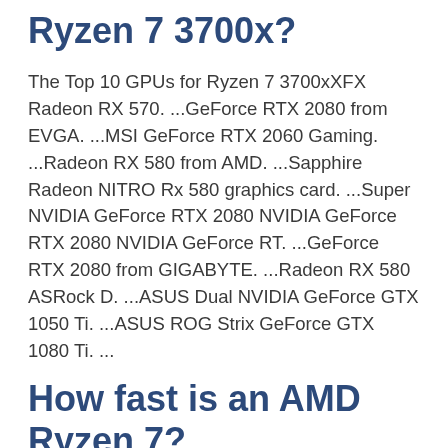Ryzen 7 3700x?
The Top 10 GPUs for Ryzen 7 3700xXFX Radeon RX 570. ...GeForce RTX 2080 from EVGA. ...MSI GeForce RTX 2060 Gaming. ...Radeon RX 580 from AMD. ...Sapphire Radeon NITRO Rx 580 graphics card. ...Super NVIDIA GeForce RTX 2080 NVIDIA GeForce RTX 2080 NVIDIA GeForce RT. ...GeForce RTX 2080 from GIGABYTE. ...Radeon RX 580 ASRock D. ...ASUS Dual NVIDIA GeForce GTX 1050 Ti. ...ASUS ROG Strix GeForce GTX 1080 Ti. ...
How fast is an AMD Ryzen 7?
The AMD Ryzen 7 1800X is...